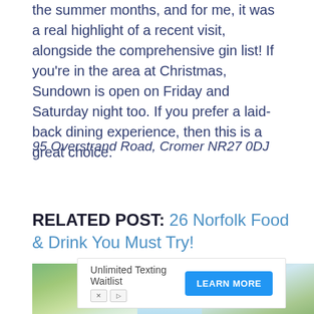the summer months, and for me, it was a real highlight of a recent visit, alongside the comprehensive gin list! If you're in the area at Christmas, Sundown is open on Friday and Saturday night too. If you prefer a laid-back dining experience, then this is a great choice.
95 Overstrand Road, Cromer NR27 0DJ
RELATED POST: 26 Norfolk Food & Drink You Must Try!
[Figure (photo): Partial photo strip showing green trees/foliage on the left and tropical plants on the right with a light blue sky in the center]